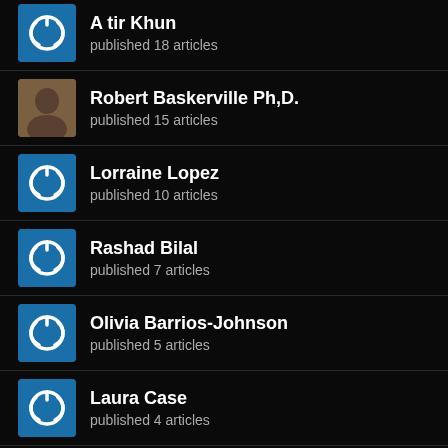A tir Khun — published 18 articles
Robert Baskerville Ph,D. — published 15 articles
Lorraine Lopez — published 10 articles
Rashad Bilal — published 7 articles
Olivia Barrios-Johnson — published 5 articles
Laura Case — published 4 articles
BW News In Pictures
[Figure (photo): Grid of four news thumbnail photos]